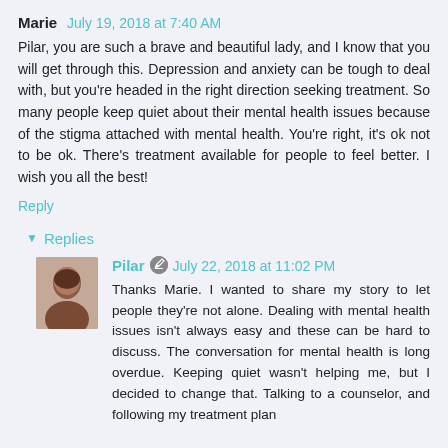Marie  July 19, 2018 at 7:40 AM
Pilar, you are such a brave and beautiful lady, and I know that you will get through this. Depression and anxiety can be tough to deal with, but you're headed in the right direction seeking treatment. So many people keep quiet about their mental health issues because of the stigma attached with mental health. You're right, it's ok not to be ok. There's treatment available for people to feel better. I wish you all the best!
Reply
Replies
Pilar  July 22, 2018 at 11:02 PM
Thanks Marie. I wanted to share my story to let people they're not alone. Dealing with mental health issues isn't always easy and these can be hard to discuss. The conversation for mental health is long overdue. Keeping quiet wasn't helping me, but I decided to change that. Talking to a counselor, and following my treatment plan